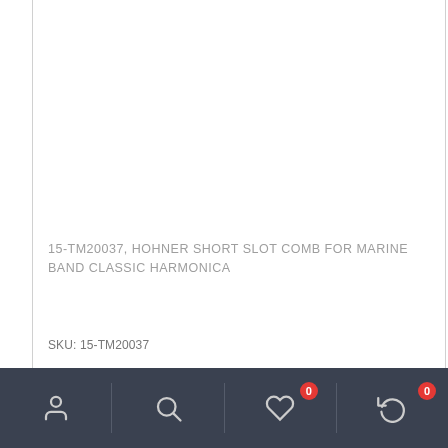15-TM20037, HOHNER SHORT SLOT COMB FOR MARINE BAND CLASSIC HARMONICA
SKU: 15-TM20037
$26.00
[Figure (screenshot): E-commerce mobile product page screenshot showing bottom navigation bar with user icon, search icon, heart/wishlist icon with badge 0, and cart/return icon with badge 0, on a dark navy background.]